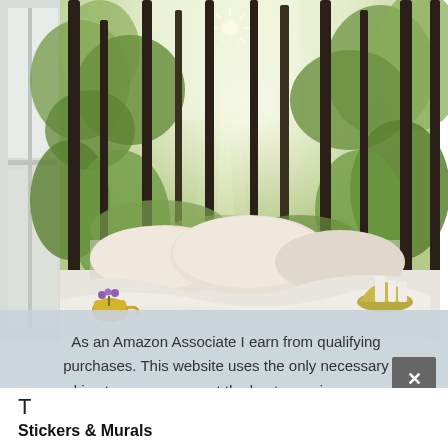[Figure (photo): A bedroom scene with a forest wallpaper mural on the wall behind a neatly made bed with white/cream pillows and rumpled white bedding. A gold/yellow watering can with purple flowers sits on a windowsill at left, and a gold side table with white candles is visible at right. Sunlight streams dramatically through tall trees in the forest mural.]
As an Amazon Associate I earn from qualifying purchases. This website uses the only necessary cookies to ensure you get the best experience on our website. More information
T
Stickers & Murals